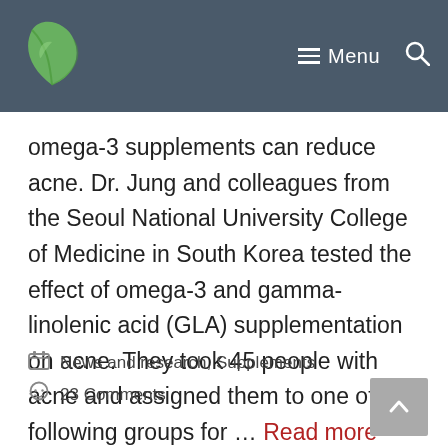Menu
omega-3 supplements can reduce acne. Dr. Jung and colleagues from the Seoul National University College of Medicine in South Korea tested the effect of omega-3 and gamma-linolenic acid (GLA) supplementation on acne. They took 45 people with acne and assigned them to one of the following groups for … Read more
News and research, Supplements
23 Comments